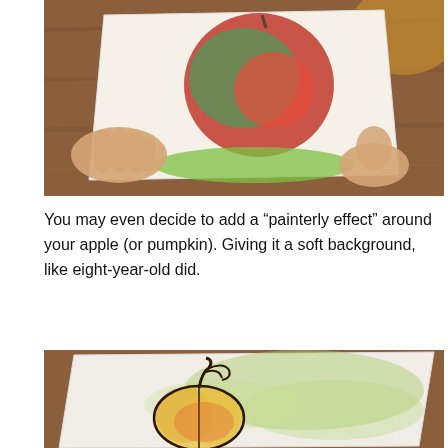[Figure (photo): Child's hands holding a piece of paper with a colorful crayon drawing of an apple — red and green circular shape on white paper, set on a wooden table background.]
You may even decide to add a “painterly effect” around your apple (or pumpkin). Giving it a soft background, like eight-year-old did.
[Figure (photo): Close-up of a child's artwork showing a pumpkin drawn with black outlines and yellow/orange watercolor wash, with a soft green watercolor background on white paper.]